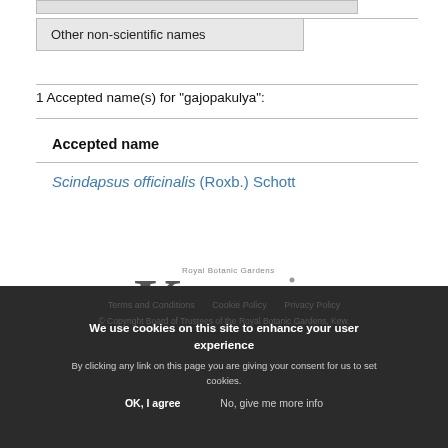| Other non-scientific names |
| --- |
1 Accepted name(s) for "gajopakulya":
| Accepted name |
| --- |
| Scindapsus officinalis (Roxb.) Schott |
[Figure (logo): Royal Botanic Gardens Kew Science logo]
We use cookies on this site to enhance your user experience
By clicking any link on this page you are giving your consent for us to set cookies.
Terms and Conditions   Cookie Policy   Privacy Policy
© Copyright Board of Trustees of the Royal Botanic Gardens, Kew.
OK, I agree   No, give me more info